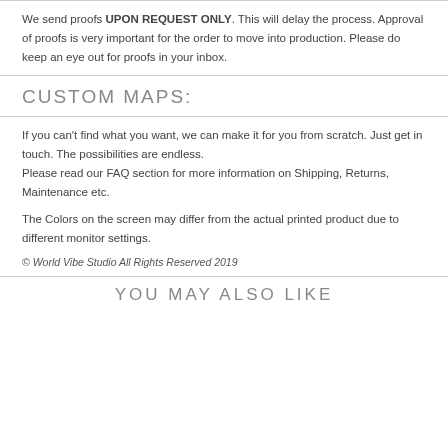We send proofs UPON REQUEST ONLY. This will delay the process. Approval of proofs is very important for the order to move into production. Please do keep an eye out for proofs in your inbox.
CUSTOM MAPS:
If you can't find what you want, we can make it for you from scratch. Just get in touch. The possibilities are endless.
Please read our FAQ section for more information on Shipping, Returns, Maintenance etc.
The Colors on the screen may differ from the actual printed product due to different monitor settings.
© World Vibe Studio All Rights Reserved 2019
YOU MAY ALSO LIKE